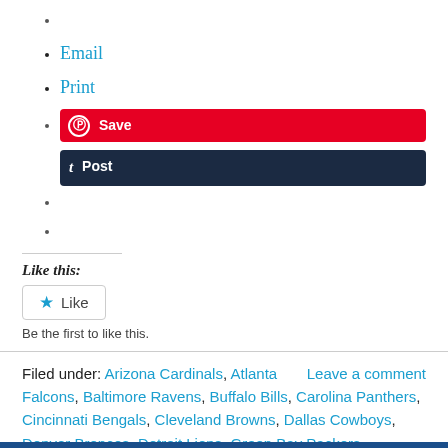Email
Print
Save / Post (social share buttons)
Like this:
[Figure (other): Like button widget with star icon and text 'Like'. Below: 'Be the first to like this.']
Filed under: Arizona Cardinals, Atlanta Falcons, Baltimore Ravens, Buffalo Bills, Carolina Panthers, Cincinnati Bengals, Cleveland Browns, Dallas Cowboys, Denver Broncos, Detroit Lions, Green Bay Packers,
Leave a comment